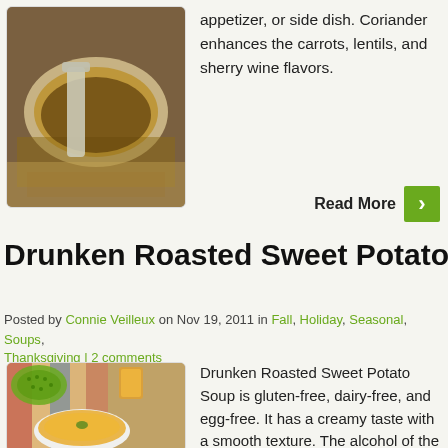[Figure (photo): Bowl of lentil soup with a spoon, food photography]
appetizer, or side dish. Coriander enhances the carrots, lentils, and sherry wine flavors.
Read More
Drunken Roasted Sweet Potato Soup
Posted by Connie Veilleux on Nov 19, 2011 in Fall, Holiday, Seasonal, Soups, Thanksgiving | 2 comments
[Figure (photo): Bowl of Drunken Roasted Sweet Potato Soup with a green colander in background]
Drunken Roasted Sweet Potato Soup is gluten-free, dairy-free, and egg-free. It has a creamy taste with a smooth texture. The alcohol of the Drambie is cooked off, leaving the